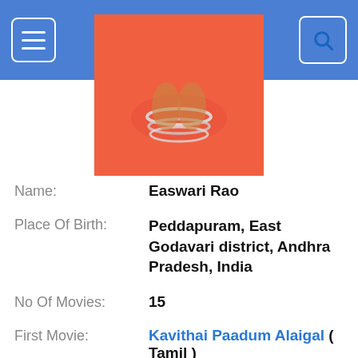spicyonion
[Figure (photo): Close-up photo of a woman's hands wearing silver bangles, dressed in an orange/red saree]
Name: Easwari Rao
Place Of Birth: Peddapuram, East Godavari district, Andhra Pradesh, India
No Of Movies: 15
First Movie: Kavithai Paadum Alaigal ( Tamil )
Upcoming Movies: Salaar